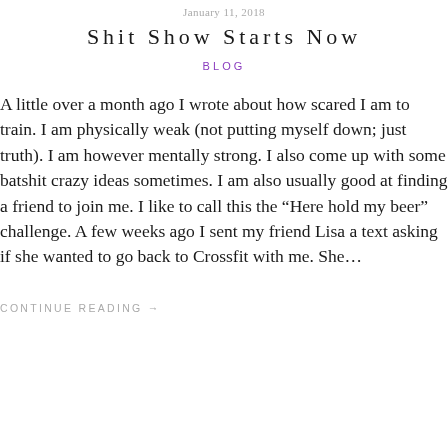January 11, 2018
Shit Show Starts Now
BLOG
A little over a month ago I wrote about how scared I am to train. I am physically weak (not putting myself down; just truth). I am however mentally strong. I also come up with some batshit crazy ideas sometimes. I am also usually good at finding a friend to join me. I like to call this the “Here hold my beer” challenge. A few weeks ago I sent my friend Lisa a text asking if she wanted to go back to Crossfit with me. She…
CONTINUE READING →